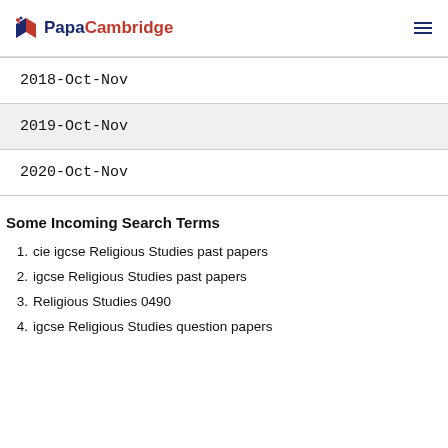PapaCambridge
2018-Oct-Nov
2019-Oct-Nov
2020-Oct-Nov
Some Incoming Search Terms
cie igcse Religious Studies past papers
igcse Religious Studies past papers
Religious Studies 0490
igcse Religious Studies question papers